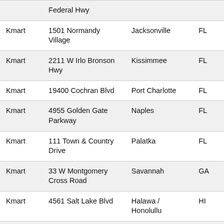| Store | Address | City | State |
| --- | --- | --- | --- |
|  | Federal Hwy |  |  |
| Kmart | 1501 Normandy Village | Jacksonville | FL |
| Kmart | 2211 W Irlo Bronson Hwy | Kissimmee | FL |
| Kmart | 19400 Cochran Blvd | Port Charlotte | FL |
| Kmart | 4955 Golden Gate Parkway | Naples | FL |
| Kmart | 111 Town & Country Drive | Palatka | FL |
| Kmart | 33 W Montgomery Cross Road | Savannah | GA |
| Kmart | 4561 Salt Lake Blvd | Halawa / Honolullu | HI |
| Kmart | 191 Outer | Louisville | KY |